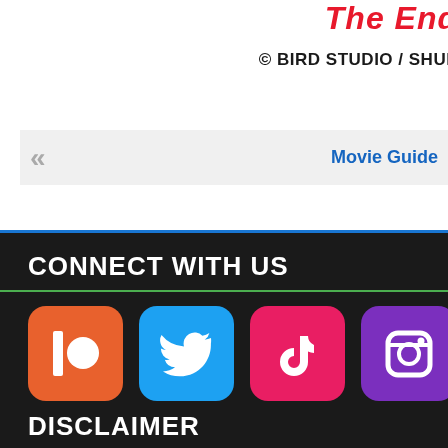The End
© BIRD STUDIO / SHUE...
« Movie Guide
CONNECT WITH US
[Figure (infographic): Social media icons: Patreon, Twitter, TikTok, Instagram, and a fifth partially visible icon]
DISCLAIMER